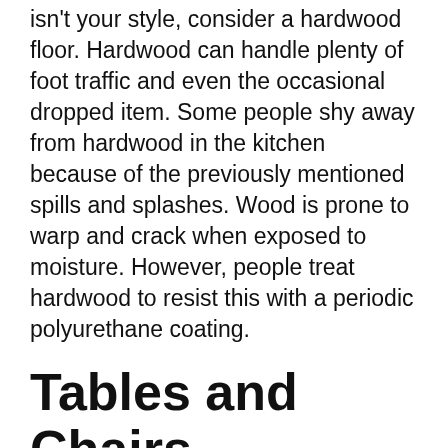isn't your style, consider a hardwood floor. Hardwood can handle plenty of foot traffic and even the occasional dropped item. Some people shy away from hardwood in the kitchen because of the previously mentioned spills and splashes. Wood is prone to warp and crack when exposed to moisture. However, people treat hardwood to resist this with a periodic polyurethane coating.
Tables and Chairs
If you do most of your eating in the kitchen instead of the dining room, a well-chosen hardwood table and chair set is a necessity to match the wood-themed kitchen. Hardwood tables resist scratches, nicks, and other damage very well. They are built to last...